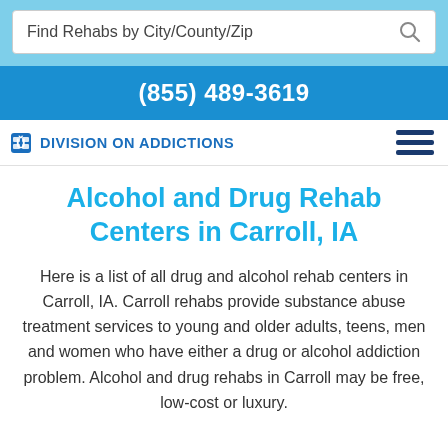Find Rehabs by City/County/Zip
(855) 489-3619
Division On Addictions
Alcohol and Drug Rehab Centers in Carroll, IA
Here is a list of all drug and alcohol rehab centers in Carroll, IA. Carroll rehabs provide substance abuse treatment services to young and older adults, teens, men and women who have either a drug or alcohol addiction problem. Alcohol and drug rehabs in Carroll may be free, low-cost or luxury.